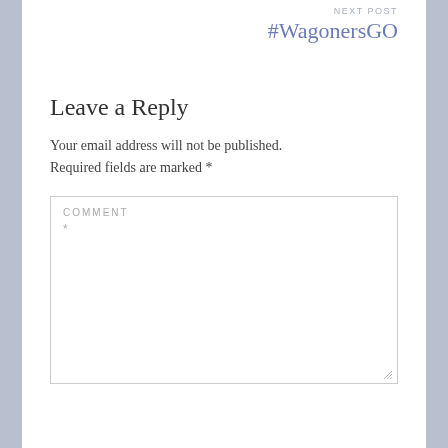NEXT POST
#WagonersGO
Leave a Reply
Your email address will not be published. Required fields are marked *
COMMENT *